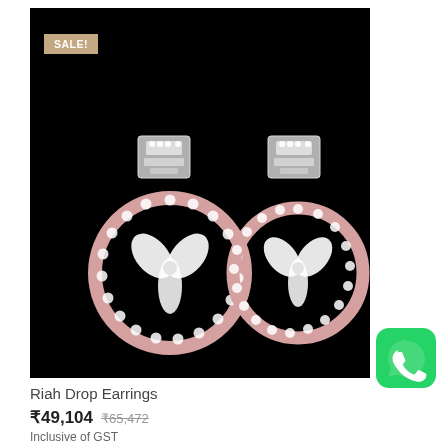[Figure (photo): Product photo of Riah Drop Earrings — two diamond and rose gold circular drop earrings with floral motif center and baguette-set square stud tops, on black background. A SALE! badge appears in the top left corner.]
[Figure (logo): WhatsApp logo — green rounded square icon with white phone/chat icon]
Riah Drop Earrings
₹49,104  ₹65,472
Inclusive of GST